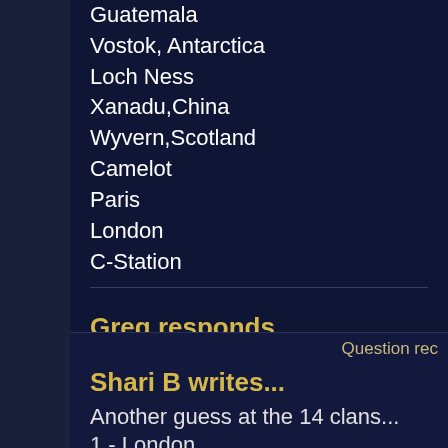Guatemala
Vostok, Antarctica
Loch Ness
Xanadu,China
Wyvern,Scotland
Camelot
Paris
London
C-Station
Greg responds...
11 and 2/2 tyca
Question rec
Shari B writes...
Another guess at the 14 clans...
1 - London
2 - Ishimura